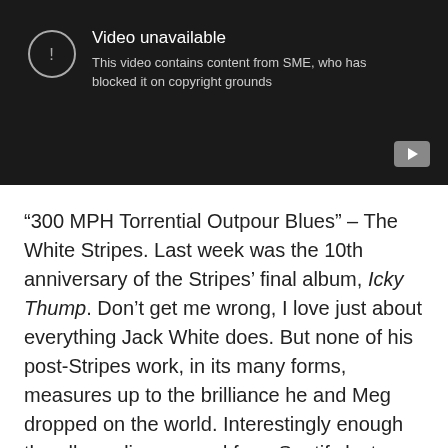[Figure (screenshot): YouTube video unavailable notice with dark background. Shows a circle with exclamation mark icon, text 'Video unavailable', and subtext 'This video contains content from SME, who has blocked it on copyright grounds'. YouTube play button in bottom right corner.]
“300 MPH Torrential Outpour Blues” – The White Stripes. Last week was the 10th anniversary of the Stripes’ final album, Icky Thump. Don’t get me wrong, I love just about everything Jack White does. But none of his post-Stripes work, in its many forms, measures up to the brilliance he and Meg dropped on the world. Interestingly enough the album disappeared from Spotify last week in advance of a deluxe reissue. Thank goodness for videos. Here White shows that even if he just has an acoustic guitar, if he still has an amp and effects pedals, he can still blow the roof off the joint.